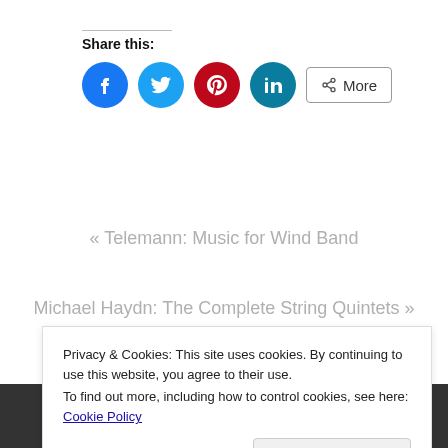Share this:
[Figure (infographic): Social sharing buttons: Facebook (blue circle), Twitter (light blue circle), Pinterest (red circle), LinkedIn (teal circle), and a More button with share icon]
« Telemann: Music for Wind Band
Michael Haydn: The Complete String Quintets »
Privacy & Cookies: This site uses cookies. By continuing to use this website, you agree to their use. To find out more, including how to control cookies, see here: Cookie Policy
Close and accept
Search